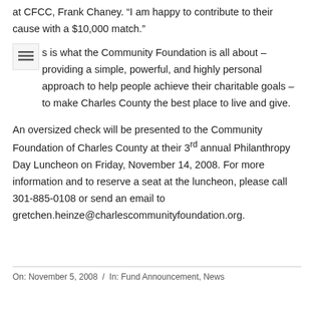at CFCC, Frank Chaney. “I am happy to contribute to their cause with a $10,000 match.”
This is what the Community Foundation is all about – providing a simple, powerful, and highly personal approach to help people achieve their charitable goals – to make Charles County the best place to live and give.
An oversized check will be presented to the Community Foundation of Charles County at their 3rd annual Philanthropy Day Luncheon on Friday, November 14, 2008. For more information and to reserve a seat at the luncheon, please call 301-885-0108 or send an email to gretchen.heinze@charlescommunityfoundation.org.
On: November 5, 2008 / In: Fund Announcement, News